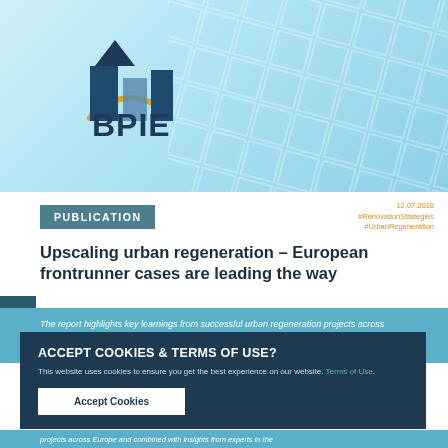[Figure (logo): BPIE logo with blue building icon and golden arc, text BPIE in dark blue bold sans-serif]
PUBLICATION
12.07.2018
#RenovationStrategies
#UrbanRegeneration
Upscaling urban regeneration – European frontrunner cases are leading the way
The report highlights key learnings from successful urban regeneration projects across Europe combined with insights
ACCEPT COOKIES & TERMS OF USE?
This website uses cookies to ensure you get the best experience on our website. Terms of Use.
Accept Cookies
projects across Europe and combined with insights from experts in the